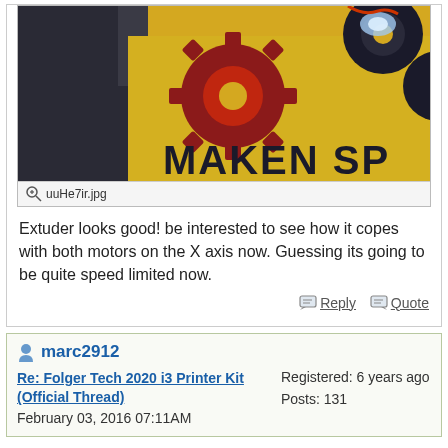[Figure (photo): Photo of a 3D printer extruder on a yellow surface with gear logo and text MAKEN SP visible]
uuHe7ir.jpg
Extuder looks good! be interested to see how it copes with both motors on the X axis now. Guessing its going to be quite speed limited now.
Reply  Quote
marc2912
Re: Folger Tech 2020 i3 Printer Kit (Official Thread)
February 03, 2016 07:11AM
Registered: 6 years ago
Posts: 131